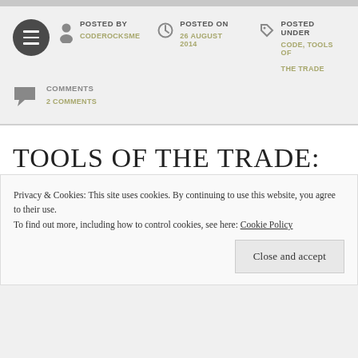POSTED BY
CODEROCKSME
POSTED ON
26 AUGUST 2014
POSTED UNDER
CODE, TOOLS OF THE TRADE
COMMENTS
2 COMMENTS
TOOLS OF THE TRADE:
Privacy & Cookies: This site uses cookies. By continuing to use this website, you agree to their use.
To find out more, including how to control cookies, see here: Cookie Policy